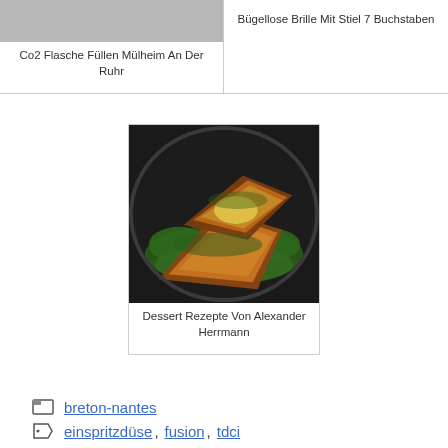[Figure (photo): Top-left card image placeholder (light gray)]
Co2 Flasche Füllen Mülheim An Der Ruhr
Bügellose Brille Mit Stiel 7 Buchstaben
[Figure (photo): Fish fillets searing in a dark skillet with green herbs and butter/lemon]
Dessert Rezepte Von Alexander Herrmann
breton-nantes
einspritzdüse, fusion, tdci